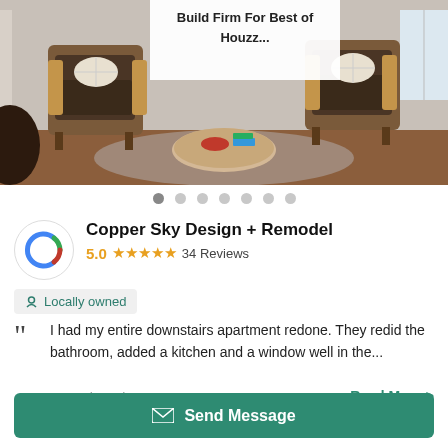[Figure (photo): Interior design photo showing two armchairs with a round coffee table in a living room setting, with an overlay text box reading 'Build Firm For Best of Houzz...']
Build Firm For Best of Houzz...
Copper Sky Design + Remodel
5.0 ★★★★★ 34 Reviews
Locally owned
I had my entire downstairs apartment redone. They redid the bathroom, added a kitchen and a window well in the...
— eredmond
Read More >
1155 Zonolite Rd. Suite A2, Atlanta, GA 30306
Send Message